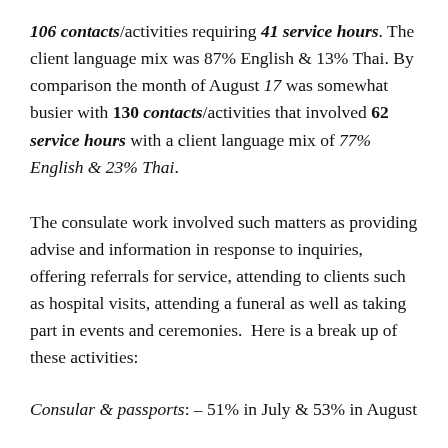106 contacts/activities requiring 41 service hours. The client language mix was 87% English & 13% Thai. By comparison the month of August 17 was somewhat busier with 130 contacts/activities that involved 62 service hours with a client language mix of 77% English & 23% Thai.
The consulate work involved such matters as providing advise and information in response to inquiries, offering referrals for service, attending to clients such as hospital visits, attending a funeral as well as taking part in events and ceremonies.  Here is a break up of these activities:
Consular & passports: – 51% in July & 53% in August
Australian visa's: – 33% in July & 32% in August